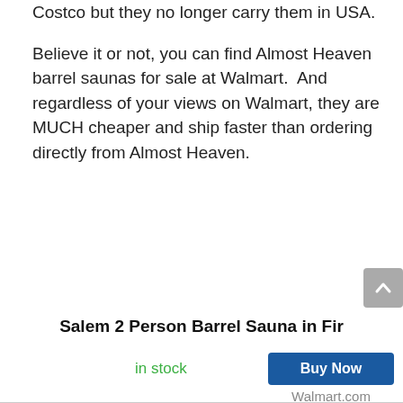Costco but they no longer carry them in USA.
Believe it or not, you can find Almost Heaven barrel saunas for sale at Walmart.  And regardless of your views on Walmart, they are MUCH cheaper and ship faster than ordering directly from Almost Heaven.
Salem 2 Person Barrel Sauna in Fir
in stock
Buy Now
Walmart.com